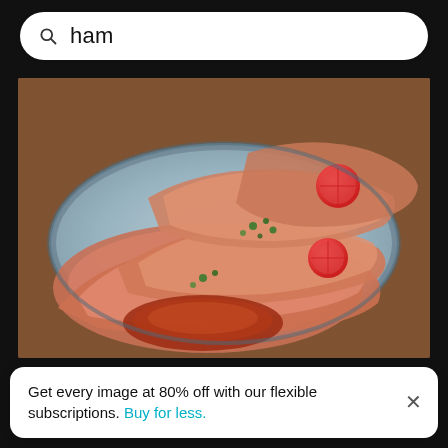ham
[Figure (photo): Close-up photo of prosciutto/cured ham slices arranged on a long blue ceramic plate, garnished with cherry tomatoes and herbs, with a tomato-based condiment, on a wooden table background.]
Get every image at 80% off with our flexible subscriptions. Buy for less.